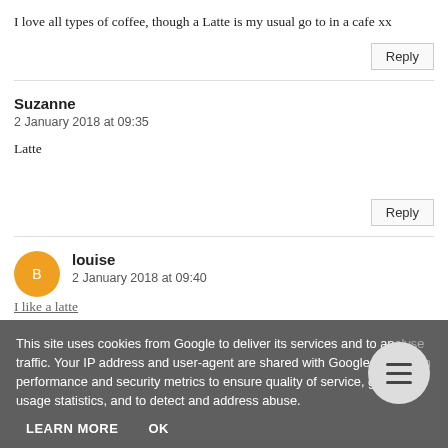I love all types of coffee, though a Latte is my usual go to in a cafe xx
Reply
Suzanne
2 January 2018 at 09:35
Latte
Reply
louise
2 January 2018 at 09:40
I like a latte
This site uses cookies from Google to deliver its services and to analyse traffic. Your IP address and user-agent are shared with Google along with performance and security metrics to ensure quality of service, generate usage statistics, and to detect and address abuse.
LEARN MORE
OK